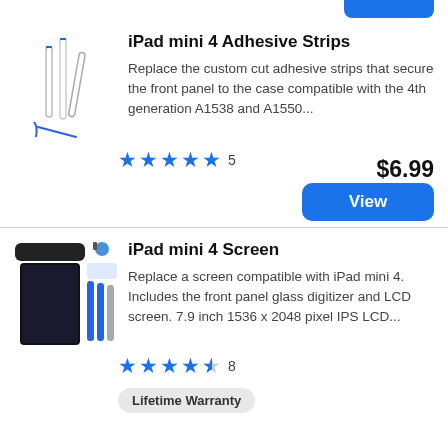[Figure (photo): iPad mini 4 Adhesive Strips product image showing thin white adhesive strips]
iPad mini 4 Adhesive Strips
Replace the custom cut adhesive strips that secure the front panel to the case compatible with the 4th generation A1538 and A1550...
★★★★★ 5
$6.99
View
[Figure (photo): iPad mini 4 Screen replacement kit with tools, LCD screen, and accessories]
iPad mini 4 Screen
Replace a screen compatible with iPad mini 4. Includes the front panel glass digitizer and LCD screen. 7.9 inch 1536 x 2048 pixel IPS LCD...
★★★★½ 8
Lifetime Warranty